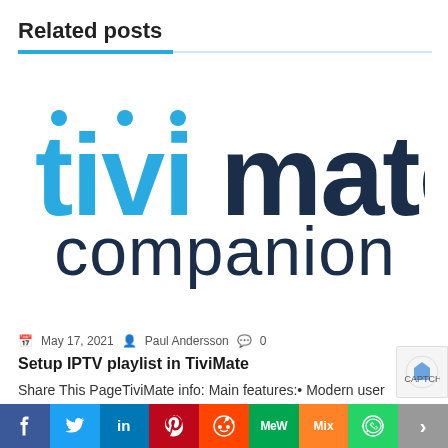Related posts
[Figure (logo): TiviMate Companion logo — 'tivi' in blue and 'mate' in dark navy bold lowercase, 'companion' in dark navy below]
May 17, 2021  Paul Andersson  0
Setup IPTV playlist in TiviMate
Share This PageTiviMate info: Main features:• Modern user interface designed for big screens• Support for multip
[Figure (other): Social share bar with icons: Facebook, Twitter, LinkedIn, Pinterest, Reddit, MeWe, Mix, WhatsApp, More]